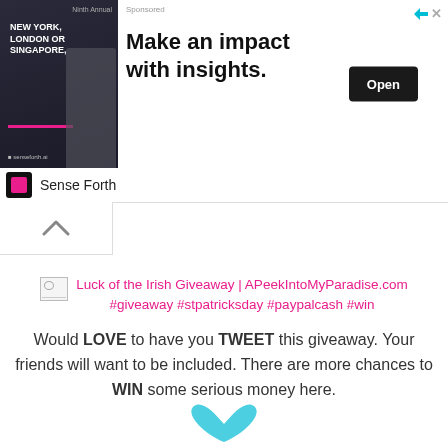[Figure (illustration): Advertisement banner: man in suit with pink accents, text 'NEW YORK, LONDON OR SINGAPORE,' with headline 'Make an impact with insights.' and an Open button. Sponsored by Sense Forth.]
Sense Forth
[Figure (illustration): Collapse/chevron-up button]
[Figure (illustration): Broken image placeholder for: Luck of the Irish Giveaway | APeekIntoMyParadise.com #giveaway #stpatricksday #paypalcash #win]
Luck of the Irish Giveaway | APeekIntoMyParadise.com #giveaway #stpatricksday #paypalcash #win
Would LOVE to have you TWEET this giveaway. Your friends will want to be included. There are more chances to WIN some serious money here.